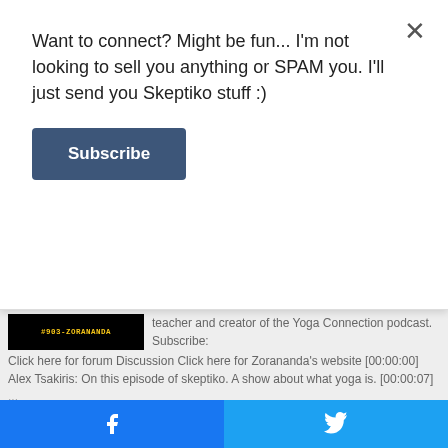Want to connect? Might be fun... I'm not looking to sell you anything or SPAM you. I'll just send you Skeptiko stuff :)
Subscribe
[Figure (screenshot): Black banner image with yellow text reading #903-ZORANANDA]
teacher and creator of the Yoga Connection podcast. Subscribe: Click here for forum Discussion Click here for Zorananda's website [00:00:00] Alex Tsakiris: On this episode of skeptiko. A show about what yoga is. [00:00:07] ...
[Figure (photo): Photo of Rob and Trish MacGregor, a man in a hat and a woman with glasses, with green and black diagonal design elements]
Rob and Trish MacGregor, Mystical
[Figure (logo): Facebook share button (blue)]
[Figure (logo): Twitter share button (blue)]